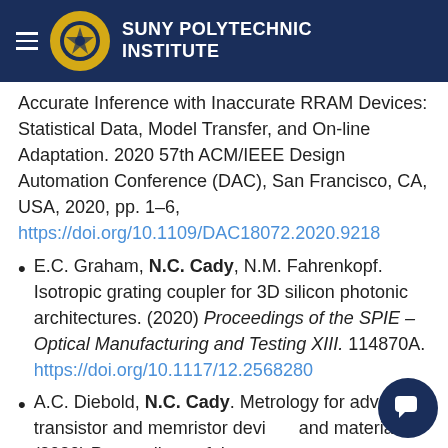SUNY POLYTECHNIC INSTITUTE
Accurate Inference with Inaccurate RRAM Devices: Statistical Data, Model Transfer, and On-line Adaptation. 2020 57th ACM/IEEE Design Automation Conference (DAC), San Francisco, CA, USA, 2020, pp. 1–6, https://doi.org/10.1109/DAC18072.2020.9218
E.C. Graham, N.C. Cady, N.M. Fahrenkopf. Isotropic grating coupler for 3D silicon photonic architectures. (2020) Proceedings of the SPIE – Optical Manufacturing and Testing XIII. 114870A. https://doi.org/10.1117/12.2568280
A.C. Diebold, N.C. Cady. Metrology for advanced transistor and memristor devices and materials. (2020) Proceedings of the SPIE – Metrology, Inspection, and Process Control...